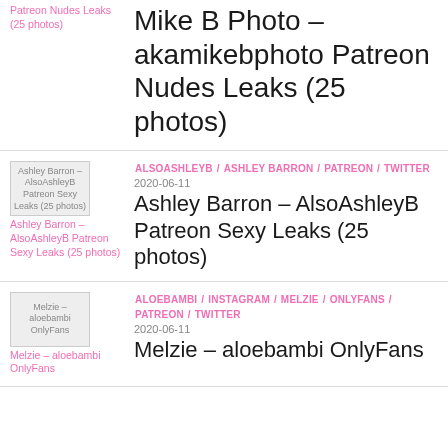Mike B Photo – akamikebphoto Patreon Nudes Leaks (25 photos)
ALSOASHLEYB / ASHLEY BARRON / PATREON / TWITTER | 2020-06-11 | Ashley Barron – AlsoAshleyB Patreon Sexy Leaks (25 photos)
ALOEBAMBI / INSTAGRAM / MELZIE / ONLYFANS / PATREON / TWITTER | 2020-06-11 | Melzie – aloebambi OnlyFans